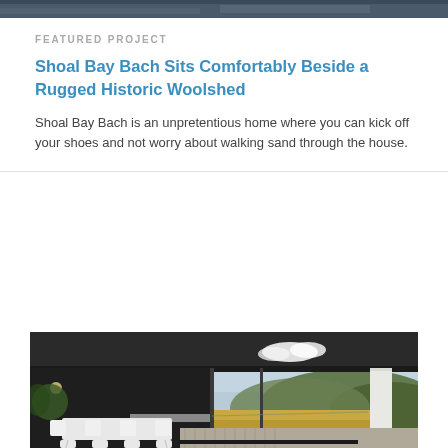[Figure (photo): Top portion of an architectural photo showing a modern dark-roofed building exterior]
FEATURED PROJECT
Shoal Bay Bach Sits Comfortably Beside a Rugged Historic Woolshed
Shoal Bay Bach is an unpretentious home where you can kick off your shoes and not worry about walking sand through the house.
[Figure (photo): Exterior architectural photo of a modern dark-roofed home with open indoor-outdoor living area, white dining table and chairs on a timber deck, glass sliding doors, and a New Zealand rural landscape with hills visible in the background. A white concrete column stands at the right.]